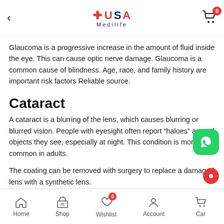USA Medilife
Glaucoma is a progressive increase in the amount of fluid inside the eye. This can cause optic nerve damage. Glaucoma is a common cause of blindness. Age, race, and family history are important risk factors Reliable source.
Cataract
A cataract is a blurring of the lens, which causes blurring or blurred vision. People with eyesight often report “haloes” around objects they see, especially at night. This condition is more common in adults.
The coating can be removed with surgery to replace a damaged lens with a synthetic lens.
Home  Shop  Wishlist  Account  Cart